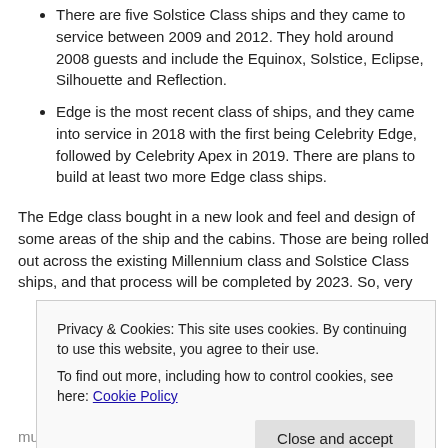There are five Solstice Class ships and they came to service between 2009 and 2012. They hold around 2008 guests and include the Equinox, Solstice, Eclipse, Silhouette and Reflection.
Edge is the most recent class of ships, and they came into service in 2018 with the first being Celebrity Edge, followed by Celebrity Apex in 2019. There are plans to build at least two more Edge class ships.
The Edge class bought in a new look and feel and design of some areas of the ship and the cabins. Those are being rolled out across the existing Millennium class and Solstice Class ships, and that process will be completed by 2023. So, very
Privacy & Cookies: This site uses cookies. By continuing to use this website, you agree to their use.
To find out more, including how to control cookies, see here: Cookie Policy
much all of the world. You can cruise to around 300